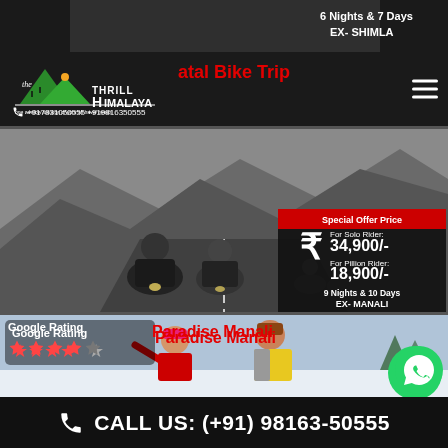[Figure (screenshot): Top dark banner with text about 6 Nights & 7 Days EX-SHIMLA tour]
The Thrill Himalaya — one window solution of your all travel needs | +917831050555 +919816350555
Natal Bike Trip
[Figure (photo): Motorcycle riders on a mountain road in Himalaya]
Special Offer Price
For Solo Rider: 34,900/-
For Pillion Rider: 18,900/-
9 Nights & 10 Days EX- MANALI
[Figure (photo): Paradise Manali — two people enjoying snow, with Google Rating 4 stars overlay and WhatsApp button]
Google Rating ★★★★☆
Paradise Manali
CALL US: (+91) 98163-50555